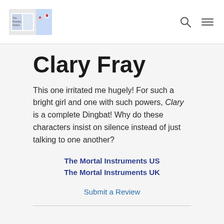The Reading Addicts [logo] [search icon] [menu icon]
Clary Fray
This one irritated me hugely! For such a bright girl and one with such powers, Clary is a complete Dingbat! Why do these characters insist on silence instead of just talking to one another?
The Mortal Instruments US
The Mortal Instruments UK
Submit a Review